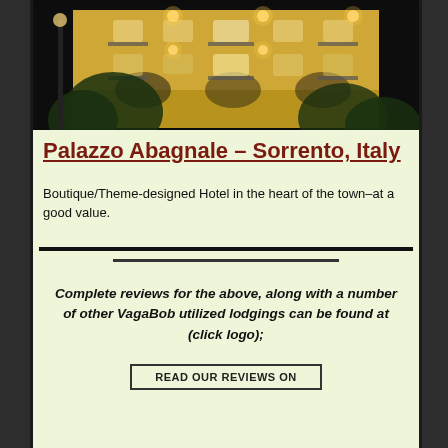[Figure (photo): Nighttime exterior photo of Palazzo Abagnale hotel building in Sorrento, Italy — yellow-painted multi-story building illuminated with warm golden lights, balconies, arches, and trees in foreground]
Palazzo Abagnale – Sorrento, Italy
Boutique/Theme-designed Hotel in the heart of the town–at a good value.
Complete reviews for the above, along with a number of other VagaBob utilized lodgings can be found at (click logo);
READ OUR REVIEWS ON